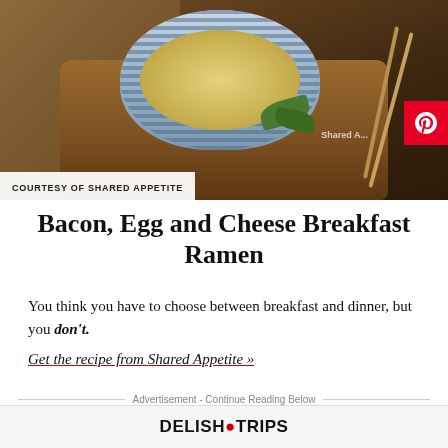[Figure (photo): Top-down photo of a bowl of ramen soup in a blue and white striped ceramic bowl on a wooden tray, with green herbs, set on a brown woven surface. Watermark 'Shared Appetite' visible. Pinterest save button overlay.]
COURTESY OF SHARED APPETITE
Bacon, Egg and Cheese Breakfast Ramen
You think you have to choose between breakfast and dinner, but you don't.
Get the recipe from Shared Appetite »
Advertisement - Continue Reading Below